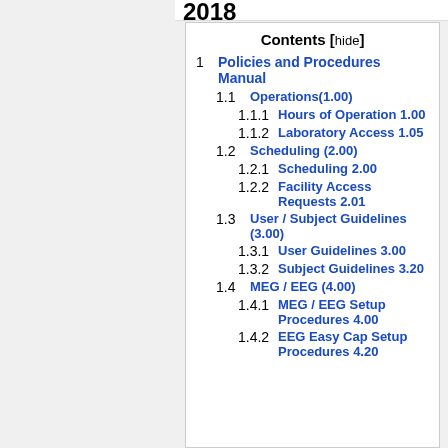2018
| Contents |
| --- |
| 1 Policies and Procedures Manual |
| 1.1 Operations(1.00) |
| 1.1.1 Hours of Operation 1.00 |
| 1.1.2 Laboratory Access 1.05 |
| 1.2 Scheduling (2.00) |
| 1.2.1 Scheduling 2.00 |
| 1.2.2 Facility Access Requests 2.01 |
| 1.3 User / Subject Guidelines (3.00) |
| 1.3.1 User Guidelines 3.00 |
| 1.3.2 Subject Guidelines 3.20 |
| 1.4 MEG / EEG (4.00) |
| 1.4.1 MEG / EEG Setup Procedures 4.00 |
| 1.4.2 EEG Easy Cap Setup Procedures 4.20 |